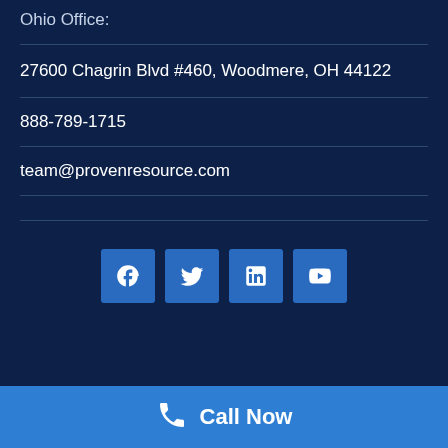Ohio Office:
27600 Chagrin Blvd #460, Woodmere, OH 44122
888-789-1715
team@provenresource.com
[Figure (infographic): Social media icons for Facebook, Twitter, LinkedIn, and YouTube in blue square buttons]
Call Now